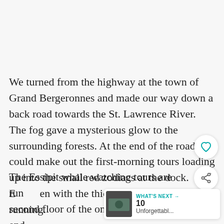We turned from the highway at the town of Grand Bergeronnes and made our way down a back road towards the St. Lawrence River. The fog gave a mysterious glow to the surrounding forests. At the end of the road, we could make out the first-morning tours loading up into the small red zodiacs at the dock. Even with the thick fog, the tours were running.
The Essipit whale watching tours are run from the second floor of the one building at the end... In the Vacances Essipit building, there is also a cafe